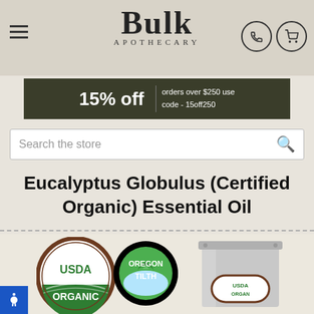Bulk Apothecary
[Figure (screenshot): Bulk Apothecary website header with hamburger menu, logo, phone and cart icons]
[Figure (infographic): Dark green promotional banner: 15% off orders over $250 use code - 15off250]
[Figure (screenshot): Search bar reading: Search the store]
Eucalyptus Globulus (Certified Organic) Essential Oil
[Figure (photo): USDA Organic and Oregon Tilth certification badges alongside a metal canister with USDA Organic label]